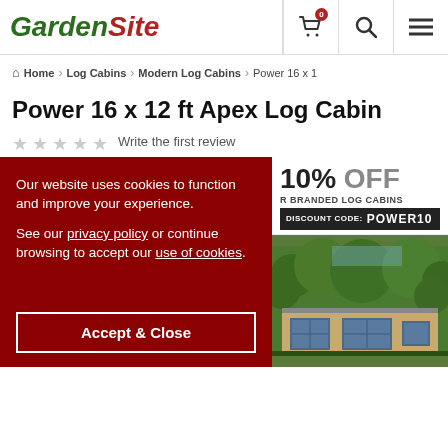GardenSite
Home > Log Cabins > Modern Log Cabins > Power 16 x 1
Power 16 x 12 ft Apex Log Cabin
Write the first review
Our website uses cookies to function and improve your experience.

See our privacy policy or continue browsing to accept our use of cookies.
Accept & Close
[Figure (infographic): 10% OFF Power Branded Log Cabins promotional banner. Discount code: POWER10]
[Figure (photo): Exterior photo of a modern log cabin with large windows surrounded by trees]